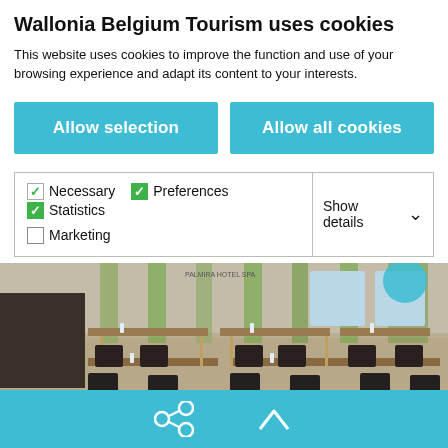Wallonia Belgium Tourism uses cookies
This website uses cookies to improve the function and use of your browsing experience and adapt its content to your interests.
Allow selection
Allow all cookies
Necessary  Preferences  Statistics  Marketing  Show details
[Figure (photo): Conference room with rows of desks, chairs, water bottles, and green wall panels. Photo credit: Jean-Yves Limet]
Spa